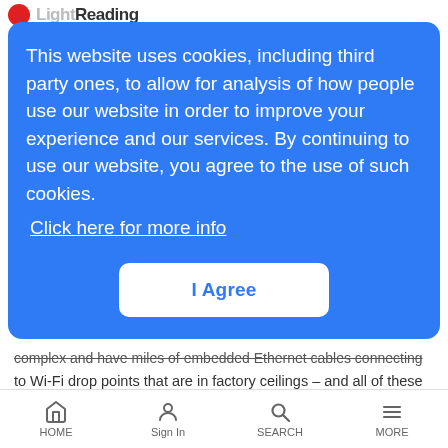Light Reading
This website uses cookies, including third party ones, to allow for analysis of how people use our website in order to improve your experience and our services. By continuing to use our website, you agree to the use of such cookies. Click here for more info
I Agree
complex and have miles of embedded Ethernet cables connecting to Wi-Fi drop points that are in factory ceilings – and all of these hard-wired elements act as barriers. "When you bring in a new product or a new program, we have to rearrange the factory. And when you have Ethernet drops, this creates a barrier to optimizing your workflow," Hedgren said.
With 5G instead of Ethernet, the company believes it can
HOME  Sign In  SEARCH  MORE